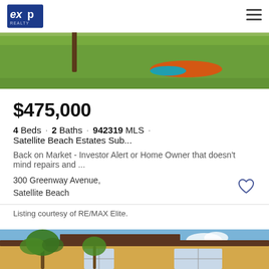[Figure (photo): Top photo of a backyard with green grass and colorful items (kayaks/pool toys) visible, with eXp Realty logo and hamburger menu overlaid on top]
$475,000
4 Beds · 2 Baths · 942319 MLS · Satellite Beach Estates Sub...
Back on Market - Investor Alert or Home Owner that doesn't mind repairs and ...
300 Greenway Avenue,
Satellite Beach
Listing courtesy of RE/MAX Elite.
[Figure (photo): Bottom photo showing a tan/yellow two-story home with Spanish-style roof tiles and palm trees in front]